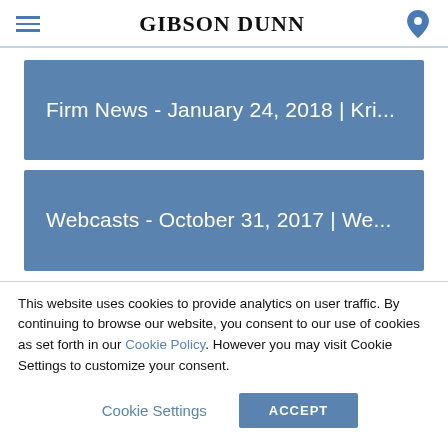GIBSON DUNN
[Figure (other): Blue card link: Firm News - January 24, 2018 | Kri...]
[Figure (other): Blue card link: Webcasts - October 31, 2017 | We...]
This website uses cookies to provide analytics on user traffic. By continuing to browse our website, you consent to our use of cookies as set forth in our Cookie Policy. However you may visit Cookie Settings to customize your consent.
Cookie Settings | ACCEPT